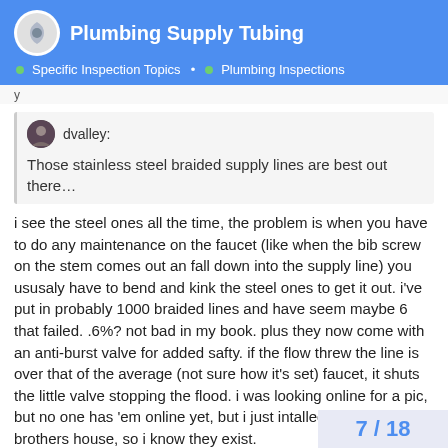Plumbing Supply Tubing — Specific Inspection Topics > Plumbing Inspections
y
dvalley: Those stainless steel braided supply lines are best out there…
i see the steel ones all the time, the problem is when you have to do any maintenance on the faucet (like when the bib screw on the stem comes out an fall down into the supply line) you ususaly have to bend and kink the steel ones to get it out. i've put in probably 1000 braided lines and have seem maybe 6 that failed. .6%? not bad in my book. plus they now come with an anti-burst valve for added safty. if the flow threw the line is over that of the average (not sure how it's set) faucet, it shuts the little valve stopping the flood. i was looking online for a pic, but no one has 'em online yet, but i just intalled some at my brothers house, so i know they exist.
7 / 18